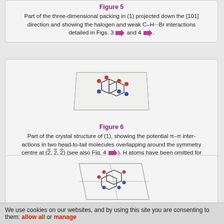Figure 5
Part of the three-dimensional packing in (1) projected down the [101] direction and showing the halogen and weak C–H···Br interactions detailed in Figs. 3 and 4.
[Figure (illustration): Crystal structure diagram showing head-to-tail molecules with pi-pi interactions, Figure 6]
Figure 6
Part of the crystal structure of (1), showing the potential π–π interactions in two head-to-tail molecules overlapping around the symmetry centre at (1/2, 1/2, 1/2) (see also Fig. 4). H atoms have been omitted for clarity. [Symmetry code: (i) –x + 1, –y + 1, –z + 1.]
[Figure (illustration): Crystal structure diagram for Figure 7]
Figure 7
Part of the crystal structure of (1), showing the potential π–π inter-
We use cookies on our websites, and by using this site you are consenting to them: allow all or manage